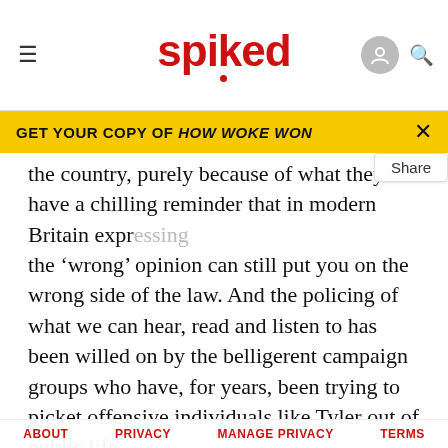spiked
GET YOUR COPY OF HOW WOKE WON
the country, purely because of what they have a chilling reminder that in modern Britain expressing the 'wrong' opinion can still put you on the wrong side of the law. And the policing of what we can hear, read and listen to has been willed on by the belligerent campaign groups who have, for years, been trying to picket offensive individuals like Tyler out of public life.
If you genuinely find Tyler's lyrics discomforting, you probably agree with the Home Office that banning
ABOUT   PRIVACY   MANAGE PRIVACY   TERMS